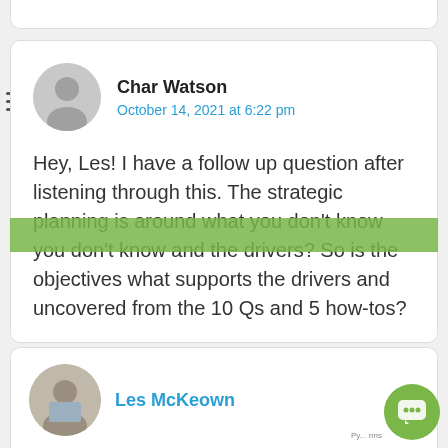[Figure (illustration): Gray circular avatar/profile placeholder with person silhouette]
Char Watson
October 14, 2021 at 6:22 pm
Hey, Les! I have a follow up question after listening through this. The strategic planning is around what you don't know you don't know and the drivers? So is the objectives what supports the drivers and uncovered from the 10 Qs and 5 how-tos?
Reply
Les McKeown